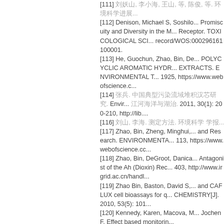[111] (Chinese text), (Chinese text), (Chinese text), (Chinese text), (Chinese text), (Chinese text). (Chinese text)...
[112] Denison, Michael S, Soshilo... Promiscuity and Diversity in the M... Receptor. TOXICOLOGICAL SCI... record/WOS:000296161100001.
[113] He, Guochun, Zhao, Bin, De... POLYCYCLIC AROMATIC HYDR... EXTRACTS. ENVIRONMENTAL... 1925, https://www.webofscience.c...
[114] (Chinese text). (Chinese text). Envir... (Chinese text). 2011, 30(1): 200-210, http://lib....
[116] (Chinese text), (Chinese text). (Chinese text). (Chinese text)...
[117] Zhao, Bin, Zheng, Minghui,... and Research. ENVIRONMENTA... 113, https://www.webofscience.cc...
[118] Zhao, Bin, DeGroot, Danica... Antagonist of the Ah (Dioxin) Rec... 403, http://www.irgrid.ac.cn/handl...
[119] Zhao Bin, Baston, David S,... and CAFLUX cell bioassays for q... CHEMISTRY[J]. 2010, 53(5): 101...
[120] Kennedy, Karen, Macova, M... Jochen F. Effect based monitorin...